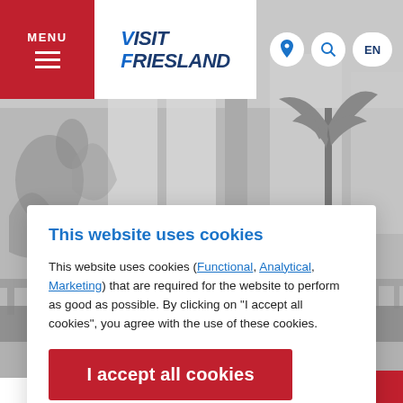[Figure (photo): Grayscale photo of an interior space with murals, plants (palm tree), large windows, and chairs visible in the background.]
MENU | VISIT FRIESLAND | EN
This website uses cookies
This website uses cookies (Functional, Analytical, Marketing) that are required for the website to perform as good as possible. By clicking on "I accept all cookies", you agree with the use of these cookies.
I accept all cookies
I want to set my cookie settings manually